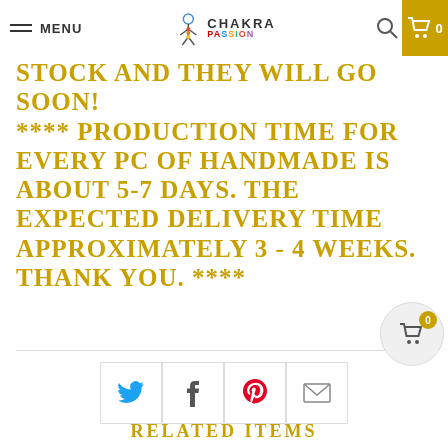MENU | CHAKRA PASSION | Search | Cart 0
STOCK AND THEY WILL GO SOON! **** PRODUCTION TIME FOR EVERY PC OF HANDMADE IS ABOUT 5-7 DAYS. THE EXPECTED DELIVERY TIME APPROXIMATELY 3 - 4 WEEKS. THANK YOU. ****
[Figure (infographic): Social sharing buttons row: Twitter, Facebook, Pinterest, Email icons in bordered square buttons]
RELATED ITEMS